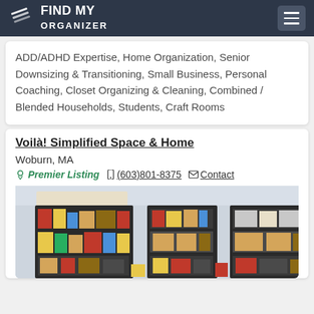FIND MY ORGANIZER
ADD/ADHD Expertise, Home Organization, Senior Downsizing & Transitioning, Small Business, Personal Coaching, Closet Organizing & Cleaning, Combined / Blended Households, Students, Craft Rooms
Voilà! Simplified Space & Home
Woburn, MA
Premier Listing  (603)801-8375  Contact
[Figure (photo): Interior photo of an organized pantry/room with shelving units holding various food items, baskets, and household products arranged neatly.]